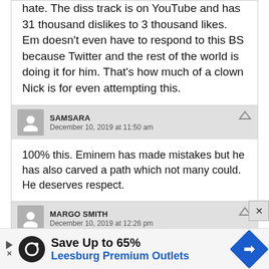hate. The diss track is on YouTube and has 31 thousand dislikes to 3 thousand likes. Em doesn't even have to respond to this BS because Twitter and the rest of the world is doing it for him. That's how much of a clown Nick is for even attempting this.
SAMSARA
December 10, 2019 at 11:50 am
100% this. Eminem has made mistakes but he has also carved a path which not many could. He deserves respect.
MARGO SMITH
December 10, 2019 at 12:26 pm
Em is the GOAT.
Save Up to 65% Leesburg Premium Outlets